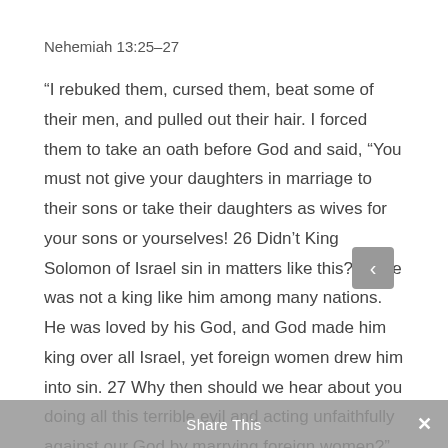Nehemiah 13:25–27
“I rebuked them, cursed them, beat some of their men, and pulled out their hair. I forced them to take an oath before God and said, “You must not give your daughters in marriage to their sons or take their daughters as wives for your sons or yourselves! 26 Didn’t King Solomon of Israel sin in matters like this? There was not a king like him among many nations. He was loved by his God, and God made him king over all Israel, yet foreign women drew him into sin. 27 Why then should we hear about you doing all this terrible evil and acting unfaithfully against our God by marrying foreign women?”
Share This